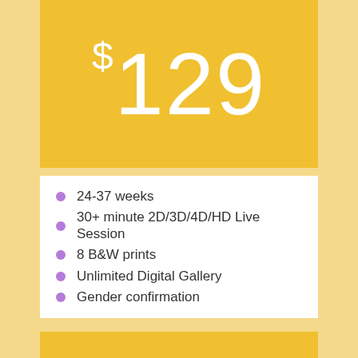$129
24-37 weeks
30+ minute 2D/3D/4D/HD Live Session
8 B&W prints
Unlimited Digital Gallery
Gender confirmation